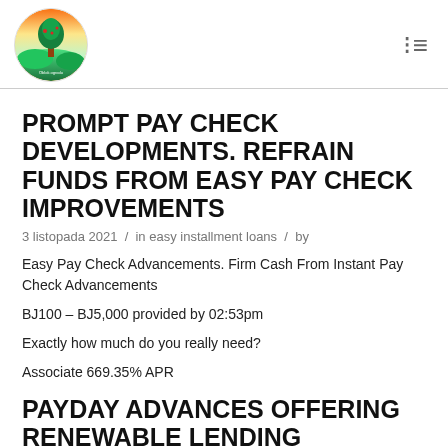[Figure (logo): Circular logo with tree and landscape imagery, colorful gradient background]
PROMPT PAY CHECK DEVELOPMENTS. REFRAIN FUNDS FROM EASY PAY CHECK IMPROVEMENTS
3 listopada 2021 / in easy installment loans / by
Easy Pay Check Advancements. Firm Cash From Instant Pay Check Advancements
BJ100 – BJ5,000 provided by 02:53pm
Exactly how much do you really need?
Associate 669.35% APR
PAYDAY ADVANCES OFFERING RENEWABLE LENDING EXPERTISE